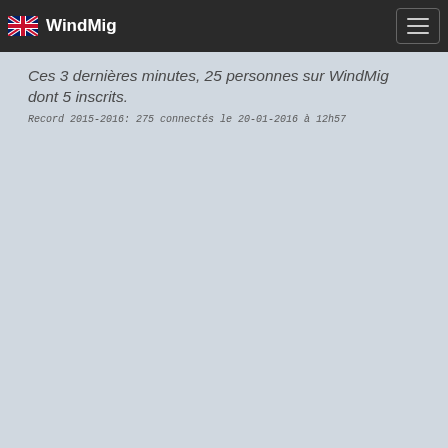WindMig
Ces 3 dernières minutes, 25 personnes sur WindMig dont 5 inscrits.
Record 2015-2016: 275 connectés le 20-01-2016 à 12h57